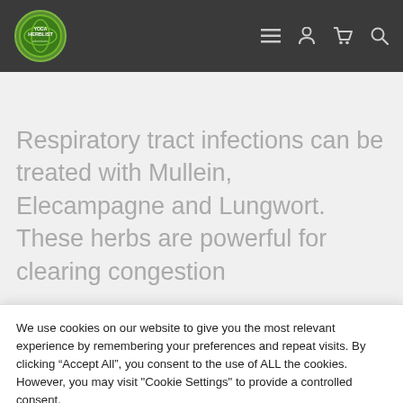Yoga Herbalist – site header with logo and navigation icons
Respiratory tract infections can be treated with Mullein, Elecampagne and Lungwort. These herbs are powerful for clearing congestion
We use cookies on our website to give you the most relevant experience by remembering your preferences and repeat visits. By clicking “Accept All”, you consent to the use of ALL the cookies. However, you may visit "Cookie Settings" to provide a controlled consent.